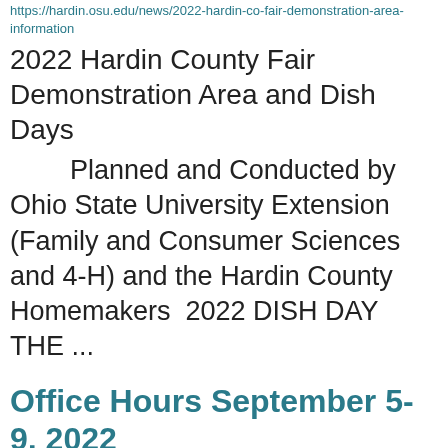https://hardin.osu.edu/news/2022-hardin-co-fair-demonstration-area-information
2022 Hardin County Fair Demonstration Area and Dish Days
Planned and Conducted by Ohio State University Extension (Family and Consumer Sciences and 4-H) and the Hardin County Homemakers  2022 DISH DAY THE ...
Office Hours September 5-9, 2022
https://hardin.osu.edu/news/office-hours-september-5-9-2022
The OSU Extension Office, Hardin County will be closed Monday, Sept 5- Friday, Sept. 9, 2022. Our staff will be at the